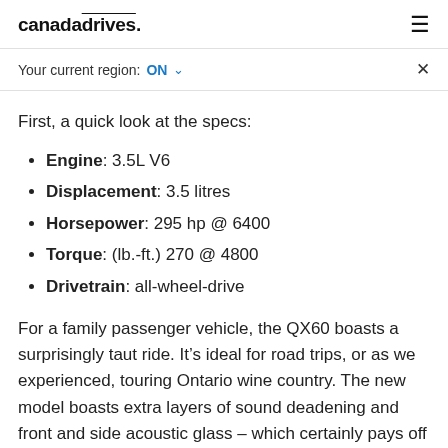canadadrives.
Your current region: ON ∨
First, a quick look at the specs:
Engine: 3.5L V6
Displacement: 3.5 litres
Horsepower: 295 hp @ 6400
Torque: (lb.-ft.) 270 @ 4800
Drivetrain: all-wheel-drive
For a family passenger vehicle, the QX60 boasts a surprisingly taut ride. It's ideal for road trips, or as we experienced, touring Ontario wine country. The new model boasts extra layers of sound deadening and front and side acoustic glass – which certainly pays off in terms of quiet refinement. New frequency dampers